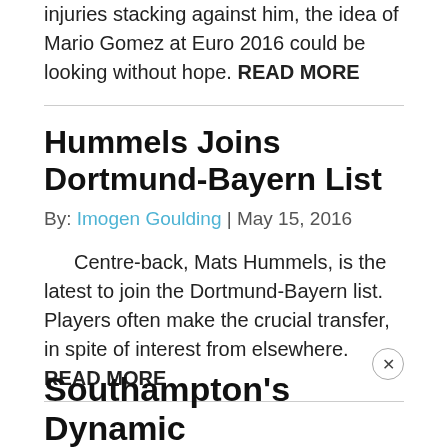With age, fresher players and niggling injuries stacking against him, the idea of Mario Gomez at Euro 2016 could be looking without hope. READ MORE
Hummels Joins Dortmund-Bayern List
By: Imogen Goulding | May 15, 2016
Centre-back, Mats Hummels, is the latest to join the Dortmund-Bayern list. Players often make the crucial transfer, in spite of interest from elsewhere. READ MORE
Southampton's Dynamic